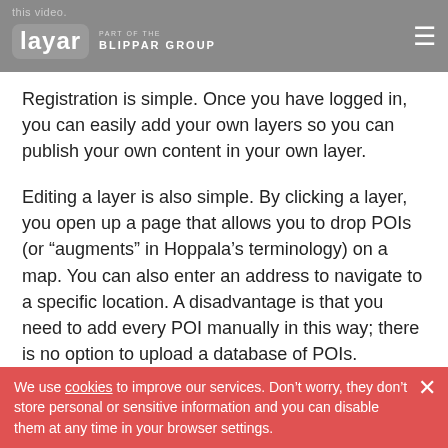this video. Layar – Part of the Blippar Group
Registration is simple. Once you have logged in, you can easily add your own layers so you can publish your own content in your own layer.
Editing a layer is also simple. By clicking a layer, you open up a page that allows you to drop POIs (or “augments” in Hoppala’s terminology) on a map. You can also enter an address to navigate to a specific location. A disadvantage is that you need to add every POI manually in this way; there is no option to upload a database of POIs.
We use cookies to improve our services. Don’t worry, they don’t store personal or sensitive information and you can disable them at any time in your browser settings.